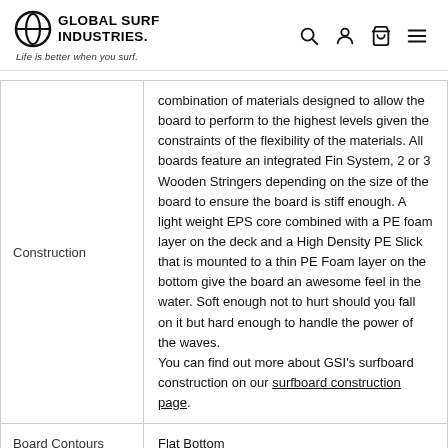Global Surf Industries — Life is better when you surf.
| Property | Value |
| --- | --- |
| Construction | combination of materials designed to allow the board to perform to the highest levels given the constraints of the flexibility of the materials. All boards feature an integrated Fin System, 2 or 3 Wooden Stringers depending on the size of the board to ensure the board is stiff enough. A light weight EPS core combined with a PE foam layer on the deck and a High Density PE Slick that is mounted to a thin PE Foam layer on the bottom give the board an awesome feel in the water. Soft enough not to hurt should you fall on it but hard enough to handle the power of the waves. You can find out more about GSI's surfboard construction on our surfboard construction page. |
| Board Contours | Flat Bottom |
| Rail | Full Rail |
| Surfer Skill Level | Beginner |
|  |  |